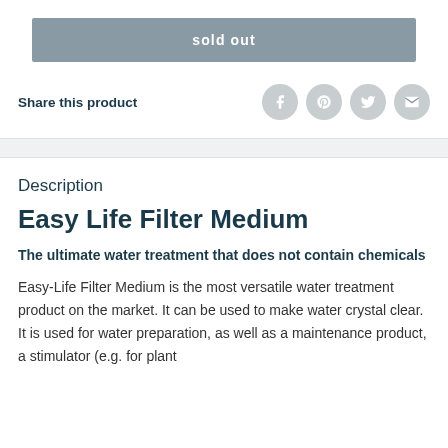sold out
Share this product
Description
Easy Life Filter Medium
The ultimate water treatment that does not contain chemicals
Easy-Life Filter Medium is the most versatile water treatment product on the market. It can be used to make water crystal clear. It is used for water preparation, as well as a maintenance product, a stimulator (e.g. for plant